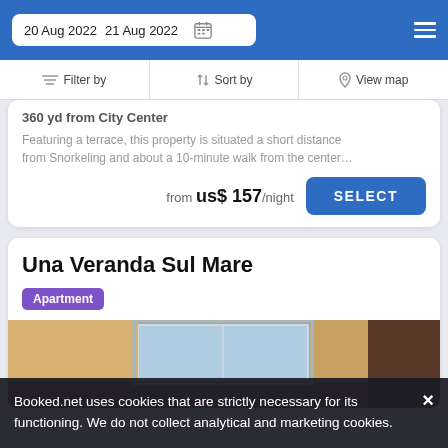20 Aug 2022   21 Aug 2022
Filter by   Sort by   View map
360 yd from City Center
Featuring a terrace, this property is situated a short distance from Snorkeling and about a 10-minute walk from the center…
from us$ 157/night
Una Veranda Sul Mare
Apartment
[Figure (photo): Interior room photo of Una Veranda Sul Mare apartment]
Booked.net uses cookies that are strictly necessary for its functioning. We do not collect analytical and marketing cookies.